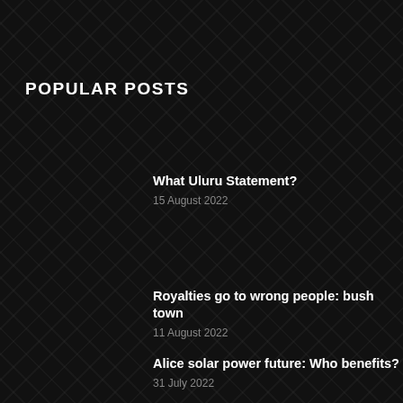POPULAR POSTS
What Uluru Statement?
15 August 2022
Royalties go to wrong people: bush town
11 August 2022
Alice solar power future: Who benefits?
31 July 2022